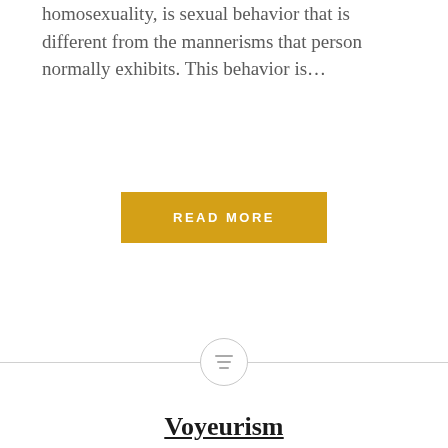homosexuality, is sexual behavior that is different from the mannerisms that person normally exhibits. This behavior is…
[Figure (other): Yellow 'READ MORE' button]
[Figure (other): Horizontal divider line with a circle icon in the center containing three horizontal lines]
Voyeurism
Voyeurism, or voyeuristic disorder, is a paraphilia in which a person derives sexual pleasure from the act or fantasy of watching unsuspecting people while they are undressing, bathing, participating in sexual acts, or engaging in other private activities. Voyeurs are also commonly known as